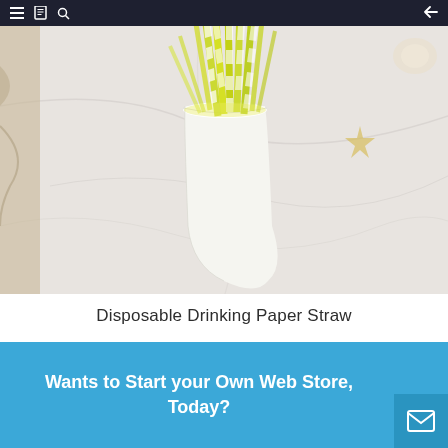Navigation bar with menu, bookmark, search, and back icons
[Figure (photo): A white paper cup filled with yellow and white striped paper drinking straws, placed on a white marble surface. Some packaging material visible on the left edge.]
Disposable Drinking Paper Straw
Wants to Start your Own Web Store, Today?